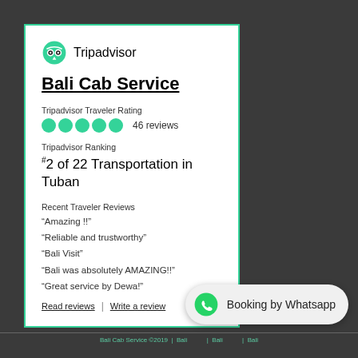[Figure (logo): Tripadvisor logo with owl icon and brand name]
Bali Cab Service
Tripadvisor Traveler Rating
[Figure (other): Five green circle star rating icons followed by '46 reviews']
Tripadvisor Ranking
#2 of 22 Transportation in Tuban
Recent Traveler Reviews
“Amazing !!”
“Reliable and trustworthy”
“Bali Visit”
“Bali was absolutely AMAZING!!”
“Great service by Dewa!”
Read reviews | Write a review
[Figure (other): Whatsapp booking button with green WhatsApp icon and text 'Booking by Whatsapp']
Bali Cab Service © 2019 | Bali ...  | Bali ... | Bali ...